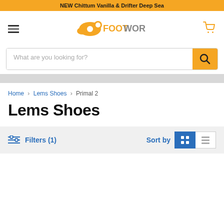NEW Chittum Vanilla & Drifter Deep Sea
[Figure (logo): Footworks logo with orange shoe icon and text FOOTWORKS]
What are you looking for?
Home > Lems Shoes > Primal 2
Lems Shoes
Filters (1)   Sort by